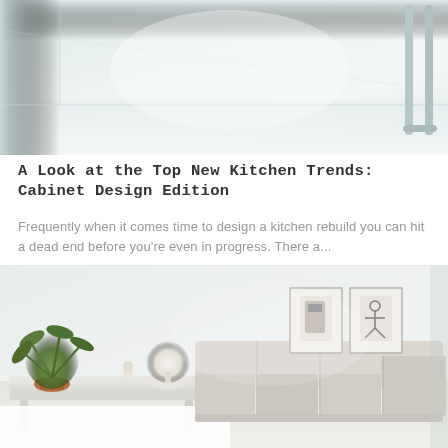[Figure (photo): Interior architectural photo showing a minimalist white hallway or room with clean lines, pale walls, and light flooring. A stool or chair silhouette is visible at the right edge.]
A Look at the Top New Kitchen Trends: Cabinet Design Edition
Frequently when it comes time to design a kitchen rebuild you can hit a dead end before you're even in progress. There a...
[Figure (photo): Minimalist white living room interior featuring a large modular sectional sofa in cream/beige fabric, a white console table to the left with a potted tropical plant and a white table lamp, and two small framed artworks on the wall in the background.]